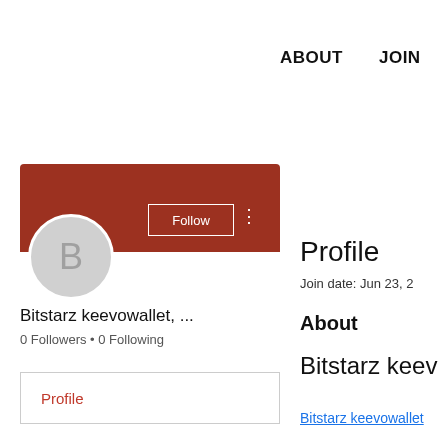ABOUT   JOIN   DO
[Figure (illustration): User profile banner with dark red/burnt orange background color]
Follow
[Figure (illustration): Avatar circle with letter B on grey background]
Bitstarz keevowallet, ...
0 Followers • 0 Following
Profile
Profile
Join date: Jun 23, 2
About
Bitstarz keev
Bitstarz keevowallet